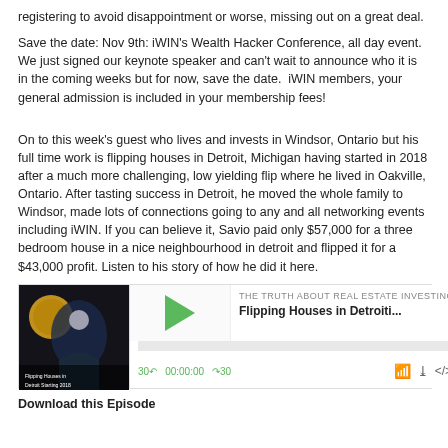registering to avoid disappointment or worse, missing out on a great deal.
Save the date: Nov 9th: iWIN's Wealth Hacker Conference, all day event.  We just signed our keynote speaker and can't wait to announce who it is in the coming weeks but for now, save the date.  iWIN members, your general admission is included in your membership fees!
On to this week's guest who lives and invests in Windsor, Ontario but his full time work is flipping houses in Detroit, Michigan having started in 2018 after a much more challenging, low yielding flip where he lived in Oakville, Ontario. After tasting success in Detroit, he moved the whole family to Windsor, made lots of connections going to any and all networking events including iWIN. If you can believe it, Savio paid only $57,000 for a three bedroom house in a nice neighbourhood in detroit and flipped it for a $43,000 profit. Listen to his story of how he did it here.
[Figure (screenshot): Podcast player embed showing episode 'Flipping Houses in Detroiti...' from 'THE TRUTH ABOUT REAL ESTATE INVESTING... F' with a thumbnail image, green play button, progress bar, and playback controls showing 30 back, 00:00:00, forward 30, and icons for casting, download, embed, and settings.]
Download this Episode